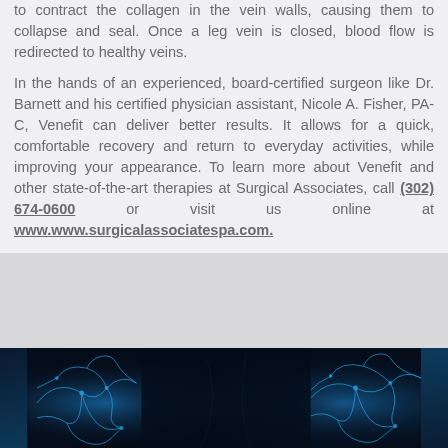to contract the collagen in the vein walls, causing them to collapse and seal. Once a leg vein is closed, blood flow is redirected to healthy veins.
In the hands of an experienced, board-certified surgeon like Dr. Barnett and his certified physician assistant, Nicole A. Fisher, PA-C, Venefit can deliver better results. It allows for a quick, comfortable recovery and return to everyday activities, while improving your appearance. To learn more about Venefit and other state-of-the-art therapies at Surgical Associates, call (302) 674-0600 or visit us online at www.www.surgicalassociatespa.com.
[Figure (photo): Dark background image showing glowing blue vein/network structures, resembling illuminated veins or neural networks against a black background.]